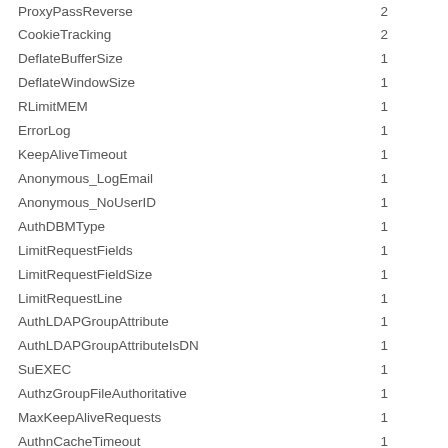| Name | Count |
| --- | --- |
| ProxyPassReverse | 2 |
| CookieTracking | 2 |
| DeflateBufferSize | 1 |
| DeflateWindowSize | 1 |
| RLimitMEM | 1 |
| ErrorLog | 1 |
| KeepAliveTimeout | 1 |
| Anonymous_LogEmail | 1 |
| Anonymous_NoUserID | 1 |
| AuthDBMType | 1 |
| LimitRequestFields | 1 |
| LimitRequestFieldSize | 1 |
| LimitRequestLine | 1 |
| AuthLDAPGroupAttribute | 1 |
| AuthLDAPGroupAttributeIsDN | 1 |
| SuEXEC | 1 |
| AuthzGroupFileAuthoritative | 1 |
| MaxKeepAliveRequests | 1 |
| AuthnCacheTimeout | 1 |
| MCacheMaxObjectSize | 1 |
| MCacheMinObjectSize | 1 |
| MCacheMaxObjectCount | 1 |
| MCacheSize | 1 |
| AuthLDAPAuthoritative | 1 |
| BufferSize | 1 |